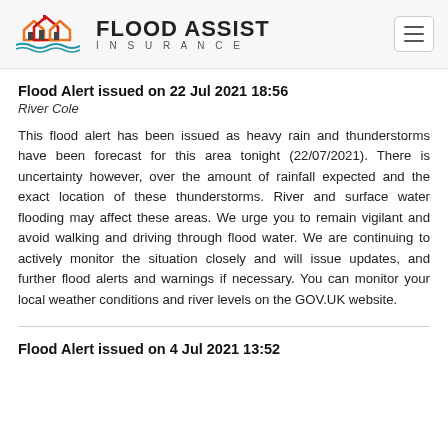FLOOD ASSIST INSURANCE
Flood Alert issued on 22 Jul 2021 18:56
River Cole
This flood alert has been issued as heavy rain and thunderstorms have been forecast for this area tonight (22/07/2021). There is uncertainty however, over the amount of rainfall expected and the exact location of these thunderstorms. River and surface water flooding may affect these areas. We urge you to remain vigilant and avoid walking and driving through flood water. We are continuing to actively monitor the situation closely and will issue updates, and further flood alerts and warnings if necessary. You can monitor your local weather conditions and river levels on the GOV.UK website.
Flood Alert issued on 4 Jul 2021 13:52